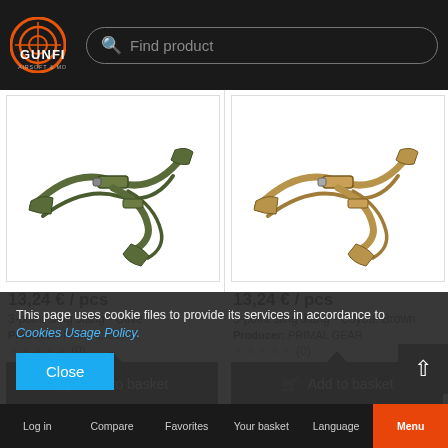[Figure (logo): Gunfire Airsoft & More logo with orange target/crosshair circle icon on dark background]
Find product
[Figure (photo): 3-point sling Jiang in Olive color on white background]
13,24 € / pcs
3-point sling Jiang - Olive
Producer: PRIMAL GEAR
(0)
Add to basket
[Figure (photo): 3-point sling Jiang in Coyote Brown color on white background]
13,24 € / pcs
3-point sling Jiang - Coyote Brown
Producer: PRIMAL GEAR
(0)
Add to basket
This page uses cookie files to provide its services in accordance to Cookies Usage Policy.
Close
Log in   Compare   Favorites   Your basket   Language   Menu